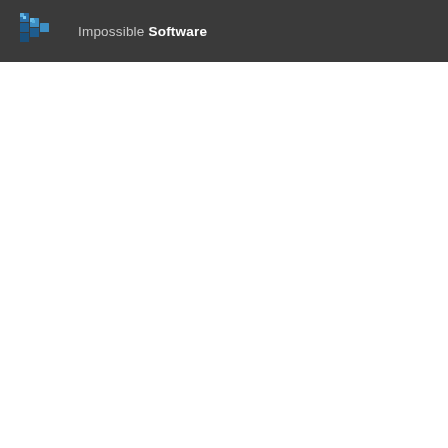Impossible Software
[Figure (logo): Impossible Software logo: a blue pixelated/faceted triangle arrow pointing right, followed by the text 'Impossible Software' in white/grey on dark background]